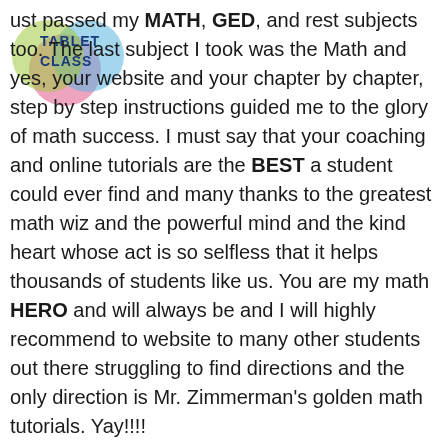[Figure (logo): TabletClass logo with overlapping colored circles and text TABLET CLASS]
ust passed my MATH, GED, and rest subjects too. The last subject I took was the Math and yes, your website and your chapter by chapter, step by step instructions guided me to the glory of math success. I must say that your coaching and online tutorials are the BEST a student could ever find and many thanks to the greatest math wiz and the powerful mind and the kind heart whose act is so selfless that it helps thousands of students like us. You are my math HERO and will always be and I will highly recommend to website to many other students out there struggling to find directions and the only direction is Mr. Zimmerman's golden math tutorials. Yay!!!!